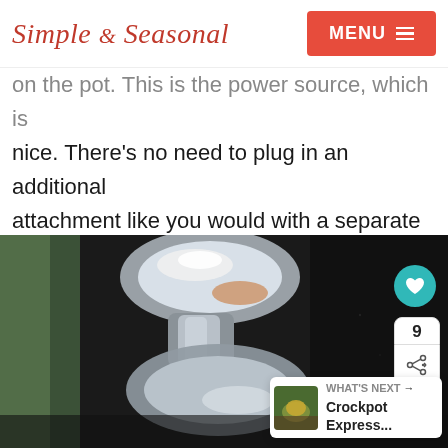Simple & Seasonal | MENU
on the pot. This is the power source, which is nice. There’s no need to plug in an additional attachment like you would with a separate crisping lid.
[Figure (photo): Close-up photo of a shiny metallic lid handle on a dark black pressure cooker pot, with social share buttons and a 'What's Next: Crockpot Express...' widget overlay.]